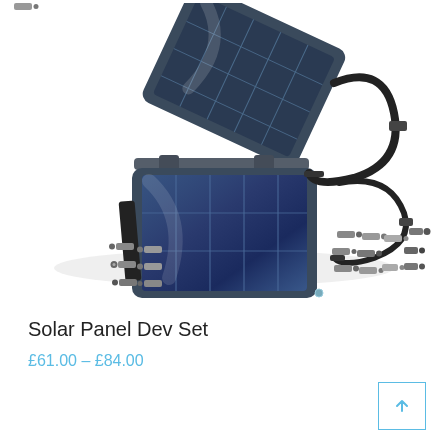[Figure (photo): A solar panel developer set product photo showing an open folding solar panel with multiple DC connector tips arranged in front of it, along with USB cables and a velcro strap, displayed on a white background.]
Solar Panel Dev Set
£61.00 – £84.00